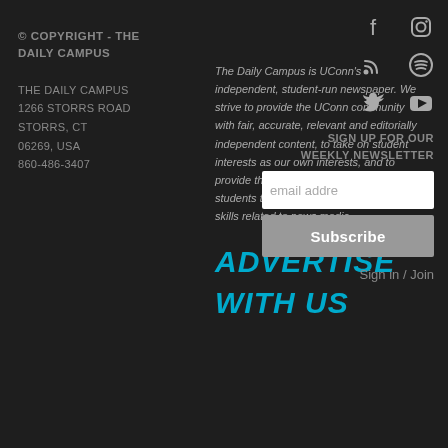© COPYRIGHT - THE DAILY CAMPUS
THE DAILY CAMPUS
1266 STORRS ROAD
STORRS, CT
06269, USA
860-486-3407
The Daily Campus is UConn's independent, student-run newspaper. We strive to provide the UConn community with fair, accurate, relevant and editorially independent content, to take on student interests as our own interests, and to provide the best possible environment for students to learn, experience and develop skills related to news media.
[Figure (logo): Social media icons: Facebook, Instagram, RSS, Spotify, Twitter, YouTube]
SIGN UP FOR OUR WEEKLY NEWSLETTER
email address
Subscribe
Sign in / Join
ADVERTISE
WITH US